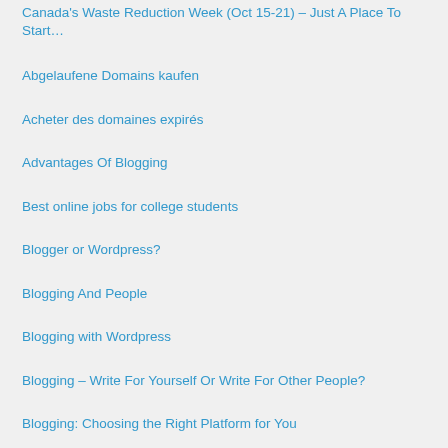Canada's Waste Reduction Week (Oct 15-21) – Just A Place To Start…
Abgelaufene Domains kaufen
Acheter des domaines expirés
Advantages Of Blogging
Best online jobs for college students
Blogger or Wordpress?
Blogging And People
Blogging with Wordpress
Blogging – Write For Yourself Or Write For Other People?
Blogging: Choosing the Right Platform for You
Blogging: Understanding How Blogs Work
Bruunari Guitar Lessons
Choosing the Proper Blogging Software